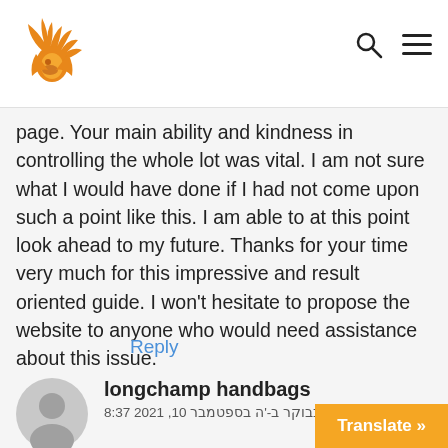longchamp handbags website header with logo and navigation icons
page. Your main ability and kindness in controlling the whole lot was vital. I am not sure what I would have done if I had not come upon such a point like this. I am able to at this point look ahead to my future. Thanks for your time very much for this impressive and result oriented guide. I won't hesitate to propose the website to anyone who would need assistance about this issue.
Reply
longchamp handbags
8:37 בבוקר ב-'ה בספטמבר 10, 2021
My husband and i got satisfied Jordan managed to complete his preliminary research through the entire precious recommendations he made from your web site. It's not at all simplistic to simply p